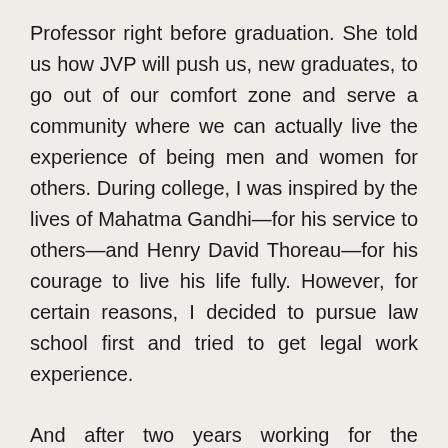Professor right before graduation. She told us how JVP will push us, new graduates, to go out of our comfort zone and serve a community where we can actually live the experience of being men and women for others. During college, I was inspired by the lives of Mahatma Gandhi—for his service to others—and Henry David Thoreau—for his courage to live his life fully. However, for certain reasons, I decided to pursue law school first and tried to get legal work experience.
And after two years working for the government, however, I still find myself thinking about JVP and what it would be like to serve a new community, get to know people, and live simply while